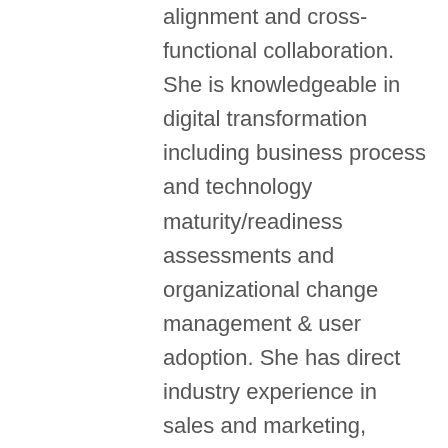alignment and cross-functional collaboration. She is knowledgeable in digital transformation including business process and technology maturity/readiness assessments and organizational change management & user adoption. She has direct industry experience in sales and marketing, logistics and transportation and holds a certification as a Certified Supply Chain Professional from APICS/ASCM. Dyci is also a certified Anaplan Model Builder and trainer.  Her technical experience spans several tools including Anaplan, Kinaxis and Salesforce. Her diverse background and focus on change management and process